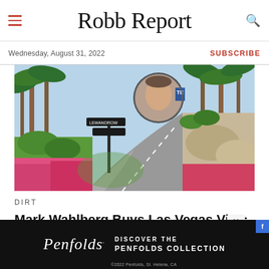Robb Report — Wednesday, August 31, 2022 — SUBSCRIBE
[Figure (photo): Aerial view of a Las Vegas villa driveway with palm trees and flowers; circular inset portrait of Mark Wahlberg]
DIRT
Mark Wahlberg Buys Las Vegas Villa; Local Agent Spills Tea on Real Estate Deals
[Figure (infographic): Penfolds advertisement: 'DISCOVER THE PENFOLDS COLLECTION' on dark background with Penfolds script logo]